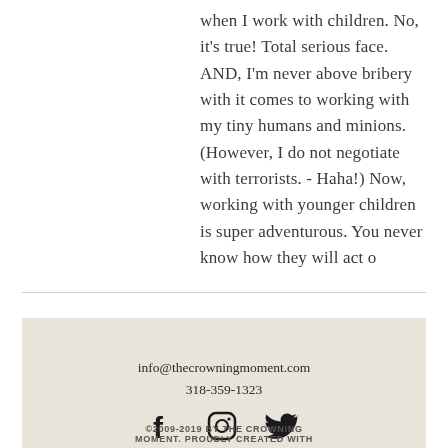when I work with children. No, it's true! Total serious face. AND, I'm never above bribery with it comes to working with my tiny humans and minions. (However, I do not negotiate with terrorists. - Haha!) Now, working with younger children is super adventurous. You never know how they will act o
info@thecrowningmoment.com
318-359-1323
©2009-2019 BY THE CROWNING MOMENT. PROUDLY CREATED WITH